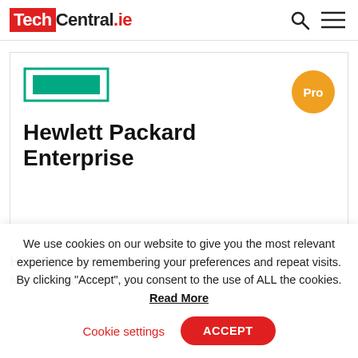TechCentral.ie
[Figure (logo): Hewlett Packard Enterprise logo with teal rectangle and 'Pro' orange badge overlay]
Hewlett Packard Enterprise
HPE Ezmeral software portfolio
New stack accelerates digital
We use cookies on our website to give you the most relevant experience by remembering your preferences and repeat visits. By clicking “Accept”, you consent to the use of ALL the cookies. Read More
Cookie settings  ACCEPT